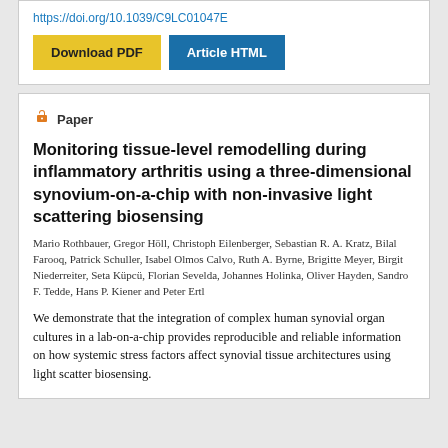https://doi.org/10.1039/C9LC01047E
[Figure (other): Download PDF button (yellow) and Article HTML button (blue)]
[Figure (other): Open access lock icon in orange]
Paper
Monitoring tissue-level remodelling during inflammatory arthritis using a three-dimensional synovium-on-a-chip with non-invasive light scattering biosensing
Mario Rothbauer, Gregor Höll, Christoph Eilenberger, Sebastian R. A. Kratz, Bilal Farooq, Patrick Schuller, Isabel Olmos Calvo, Ruth A. Byrne, Brigitte Meyer, Birgit Niederreiter, Seta Küpcü, Florian Sevelda, Johannes Holinka, Oliver Hayden, Sandro F. Tedde, Hans P. Kiener and Peter Ertl
We demonstrate that the integration of complex human synovial organ cultures in a lab-on-a-chip provides reproducible and reliable information on how systemic stress factors affect synovial tissue architectures using light scatter biosensing.